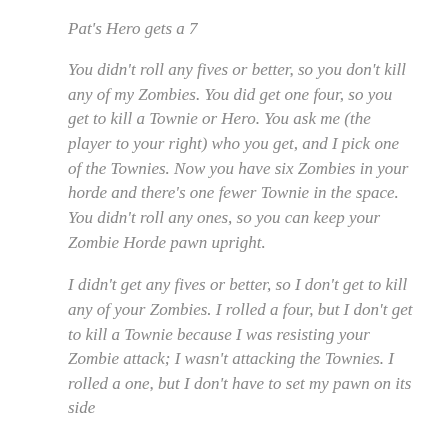Pat's Hero gets a 7
You didn't roll any fives or better, so you don't kill any of my Zombies. You did get one four, so you get to kill a Townie or Hero. You ask me (the player to your right) who you get, and I pick one of the Townies. Now you have six Zombies in your horde and there's one fewer Townie in the space. You didn't roll any ones, so you can keep your Zombie Horde pawn upright.
I didn't get any fives or better, so I don't get to kill any of your Zombies. I rolled a four, but I don't get to kill a Townie because I was resisting your Zombie attack; I wasn't attacking the Townies. I rolled a one, but I don't have to set my pawn on its side